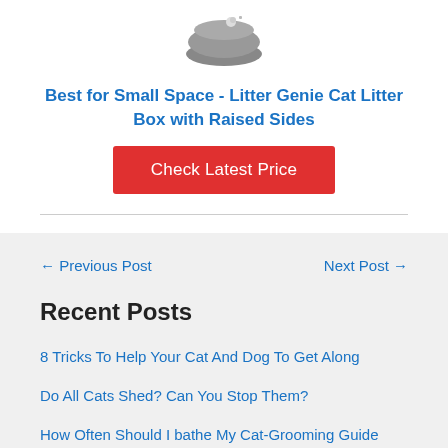[Figure (photo): Product image of Litter Genie Cat Litter Box with Raised Sides - gray round litter box with cat inside, partially visible at top of page]
Best for Small Space - Litter Genie Cat Litter Box with Raised Sides
Check Latest Price
← Previous Post
Next Post →
Recent Posts
8 Tricks To Help Your Cat And Dog To Get Along
Do All Cats Shed? Can You Stop Them?
How Often Should I bathe My Cat-Grooming Guide
What Are The Basic Cat Grooming Supplies?